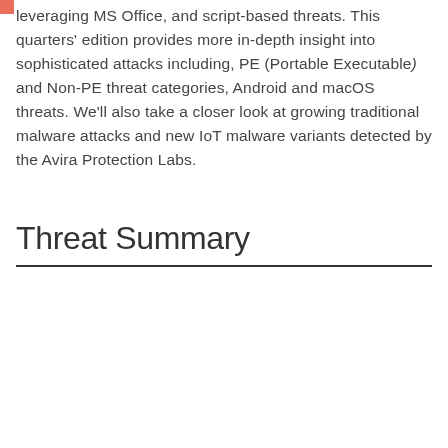leveraging MS Office, and script-based threats. This quarters' edition provides more in-depth insight into sophisticated attacks including, PE (Portable Executable) and Non-PE threat categories, Android and macOS threats. We'll also take a closer look at growing traditional malware attacks and new IoT malware variants detected by the Avira Protection Labs.
Threat Summary